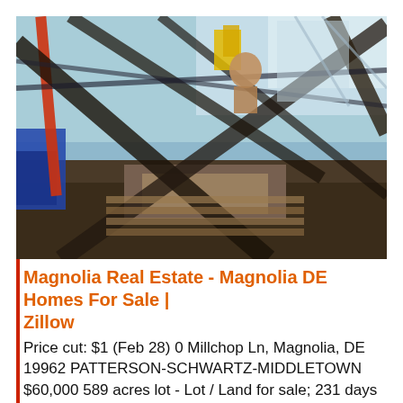[Figure (photo): Photograph of a construction or demolition scene with metal scaffolding, beams, and blue sky visible in the background. Red border on the left side.]
Magnolia Real Estate - Magnolia DE Homes For Sale | Zillow
Price cut: $1 (Feb 28) 0 Millchop Ln, Magnolia, DE 19962 PATTERSON-SCHWARTZ-MIDDLETOWN $60,000 589 acres lot - Lot / Land for sale; 231 days on Zillow 101 N Lexington Dr, Felton, DE 19943 PATTERSON-SCHWARTZ